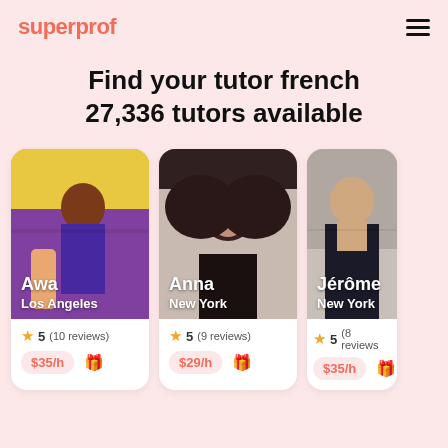superprof
Find your tutor french
27,336 tutors available
[Figure (photo): Tutor card for Awa, Los Angeles - a woman in a purple dress sitting on a couch with yellow background. Rating: 5 (10 reviews), $35/h]
[Figure (photo): Tutor card for Anna, New York - a woman with short dark hair and red lipstick against white background. Rating: 5 (9 reviews), $29/h]
[Figure (photo): Tutor card for Jérôme, New York - a man in a dark suit with beard. Rating: 5 (8 reviews), $35/h (partially visible)]